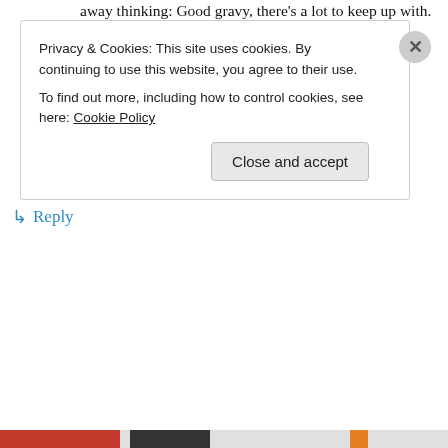away thinking: Good gravy, there's a lot to keep up with. It's a wonder we don't all drop from exhaustion!
Hope you and your readers are having a great day, Cinthia. I know I am.
Cheers!
★ Liked by 1 person
↳ Reply
Privacy & Cookies: This site uses cookies. By continuing to use this website, you agree to their use.
To find out more, including how to control cookies, see here: Cookie Policy